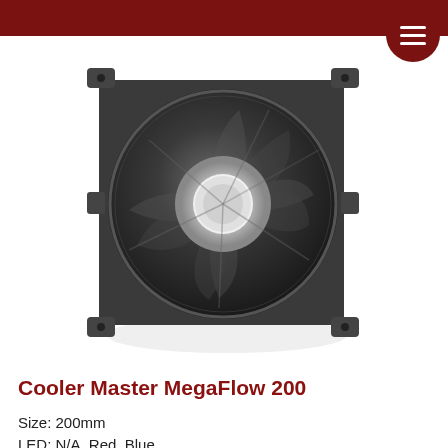[Figure (photo): Cooler Master MegaFlow 200 large 200mm PC case fan, dark grey/black color, shown from front angle with mounting brackets visible at corners and center hub hole.]
Cooler Master MegaFlow 200
Size: 200mm
LED: N/A, Red, Blue